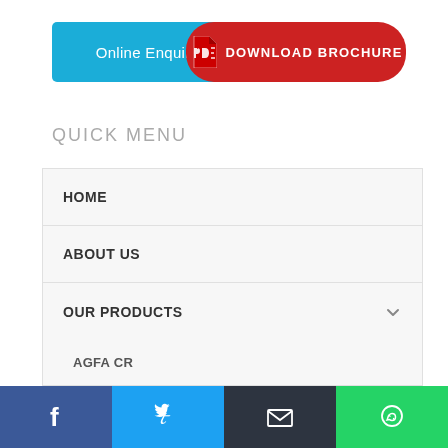[Figure (screenshot): Blue 'Online Enquiry' button]
[Figure (screenshot): Red 'DOWNLOAD BROCHURE' button with PDF icon]
QUICK MENU
HOME
ABOUT US
OUR PRODUCTS
AGFA CR
AGFA CR 10X
AGFA CR 30X
AGFA CR 30Xm
[Figure (screenshot): Social media bar with Facebook, Twitter, Email, and WhatsApp icons]